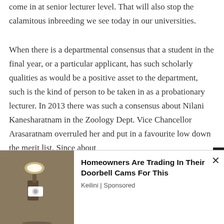come in at senior lecturer level. That will also stop the calamitous inbreeding we see today in our universities.
When there is a departmental consensus that a student in the final year, or a particular applicant, has such scholarly qualities as would be a positive asset to the department, such is the kind of person to be taken in as a probationary lecturer. In 2013 there was such a consensus about Nilani Kanesharatnam in the Zoology Dept. Vice Chancellor Arasaratnam overruled her and put in a favourite low down the merit list. Since about...
[Figure (photo): Advertisement showing a wall-mounted security camera/doorbell cam, with text: Homeowners Are Trading In Their Doorbell Cams For This. Keilini | Sponsored]